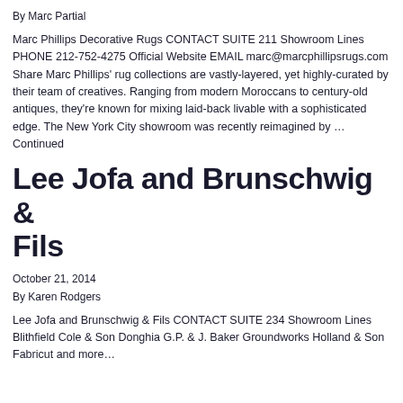By Marc Partial
Marc Phillips Decorative Rugs CONTACT SUITE 211 Showroom Lines PHONE 212-752-4275 Official Website EMAIL marc@marcphillipsrugs.com Share Marc Phillips' rug collections are vastly-layered, yet highly-curated by their team of creatives. Ranging from modern Moroccans to century-old antiques, they're known for mixing laid-back livable with a sophisticated edge. The New York City showroom was recently reimagined by … Continued
Lee Jofa and Brunschwig & Fils
October 21, 2014
By Karen Rodgers
Lee Jofa and Brunschwig & Fils CONTACT SUITE 234 Showroom Lines Blithfield Cole & Son Donghia G.P. & J. Baker Groundworks Holland & Son Fabricut and more…